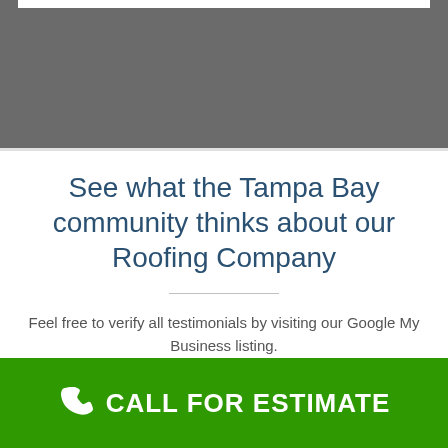[Figure (other): Gray header banner at top of page]
See what the Tampa Bay community thinks about our Roofing Company
Feel free to verify all testimonials by visiting our Google My Business listing.
CALL FOR ESTIMATE